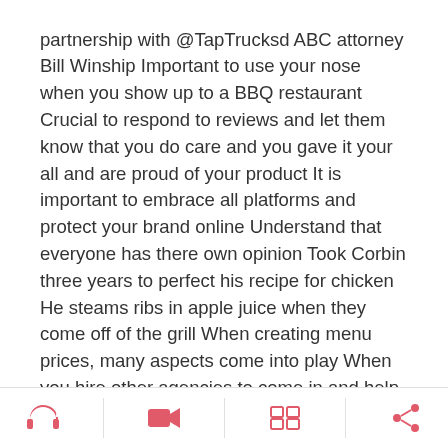partnership with @TapTrucksd ABC attorney Bill Winship Important to use your nose when you show up to a BBQ restaurant Crucial to respond to reviews and let them know that you do care and you gave it your all and are proud of your product It is important to embrace all platforms and protect your brand online Understand that everyone has there own opinion Took Corbin three years to perfect his recipe for chicken He steams ribs in apple juice when they come off of the grill When creating menu prices, many aspects come into play When you hire other agencies to come in and help with your business, you may lose your voice It is important to have your own hands in as many aspects of your business as you can Utilize technology and apps
[Figure (other): Bottom navigation bar with four icons: headphones, video camera, grid/menu, and share — all in pink/red color, separated by vertical dividers]